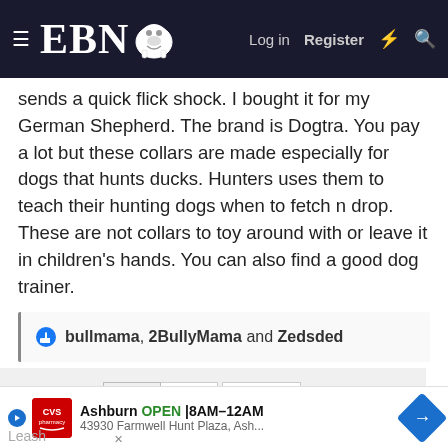EBN [logo] Log in  Register
sends a quick flick shock. I bought it for my German Shepherd. The brand is Dogtra. You pay a lot but these collars are made especially for dogs that hunts ducks. Hunters uses them to teach their hunting dogs when to fetch n drop. These are not collars to toy around with or leave it in children's hands. You can also find a good dog trainer.
bullmama, 2BullyMama and Zedsded
1  2  Next ▶
You must log in or register to reply here.
[Figure (other): CVS Pharmacy advertisement: Ashburn OPEN 8AM-12AM, 43930 Farmwell Hunt Plaza, Ash...]